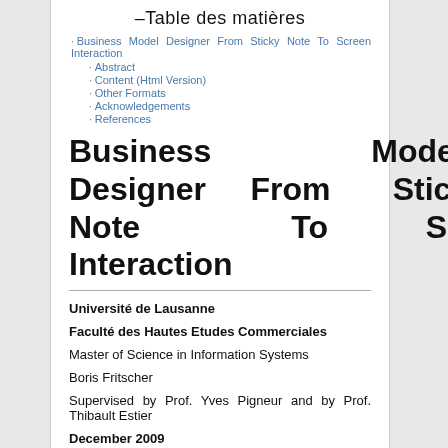–Table des matières
Business Model Designer From Sticky Note To Screen Interaction
Abstract
Content (Html Version)
Other Formats
Acknowledgements
References
Business Model Designer From Sticky Note To Screen Interaction
Université de Lausanne
Faculté des Hautes Etudes Commerciales
Master of Science in Information Systems
Boris Fritscher
Supervised by Prof. Yves Pigneur and by Prof. Thibault Estier
December 2009